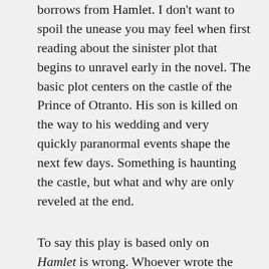borrows from Hamlet. I don't want to spoil the unease you may feel when first reading about the sinister plot that begins to unravel early in the novel. The basic plot centers on the castle of the Prince of Otranto. His son is killed on the way to his wedding and very quickly paranormal events shape the next few days. Something is haunting the castle, but what and why are only reveled at the end.
To say this play is based only on Hamlet is wrong. Whoever wrote the foreword for the Di Lernia edition must have never read beyond Hamlet. Walpole calls upon many of Shakespeare's plays in this short novel. The Prince of Otranto's wife is named Hippolita, an